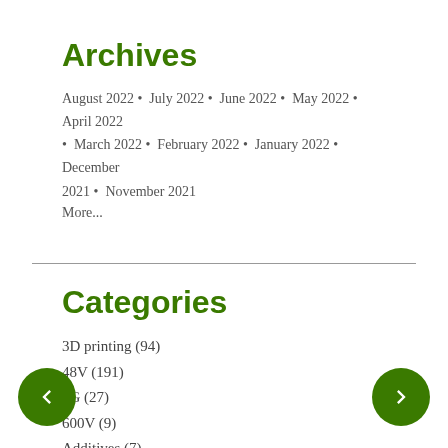Archives
August 2022 • July 2022 • June 2022 • May 2022 • April 2022 • March 2022 • February 2022 • January 2022 • December 2021 • November 2021
More...
Categories
3D printing (94)
48V (191)
5G (27)
600V (9)
Additives (7)
See More